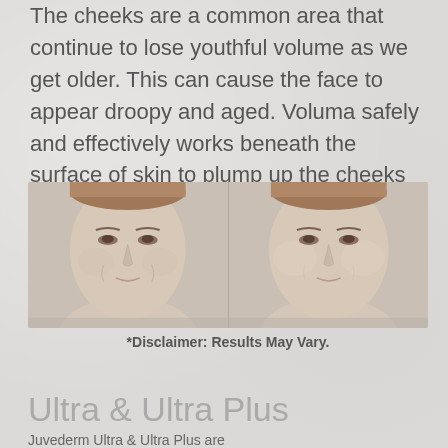The cheeks are a common area that continue to lose youthful volume as we get older. This can cause the face to appear droopy and aged. Voluma safely and effectively works beneath the surface of skin to plump up the cheeks for improved youthful volume.
[Figure (photo): Before and after side-by-side comparison photos of a woman's face showing cheek volume improvement after Voluma treatment]
*Disclaimer: Results May Vary.
Ultra & Ultra Plus
Juvederm Ultra & Ultra Plus are